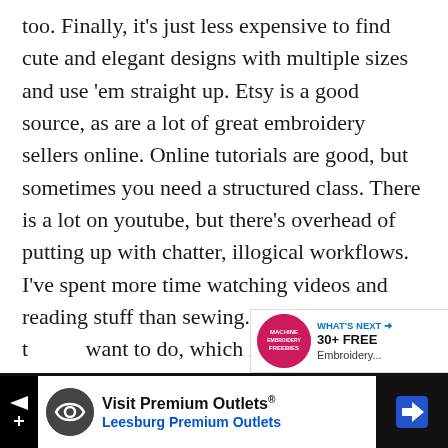too. Finally, it's just less expensive to find cute and elegant designs with multiple sizes and use 'em straight up. Etsy is a good source, as are a lot of great embroidery sellers online. Online tutorials are good, but sometimes you need a structured class. There is a lot on youtube, but there's overhead of putting up with chatter, illogical workflows. I've spent more time watching videos and reading stuff than sewing. Tired of it. The one thing I want to do, which is create line outlines for
[Figure (other): Heart (favorite) button – teal circular icon with white heart symbol]
[Figure (other): Share button – white circular icon with share symbol]
[Figure (other): What's Next panel with badge showing machine embroidery image, WHAT'S NEXT arrow label, and '30+ FREE Embroidery...' text]
[Figure (other): Advertisement bar: Visit Premium Outlets – Leesburg Premium Outlets, with logo and navigation icon]